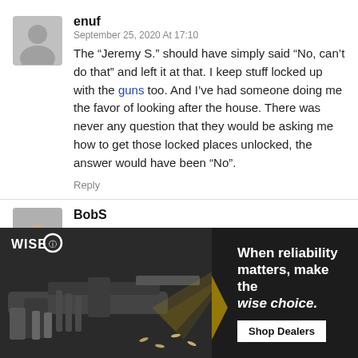[Figure (illustration): Gray placeholder avatar silhouette icon for user 'enuf']
enuf
September 25, 2020 At 17:10
The “Jeremy S.” should have simply said “No, can’t do that” and left it at that. I keep stuff locked up with the guns too. And I’ve had someone doing me the favor of looking after the house. There was never any question that they would be asking me how to get those locked places unlocked, the answer would have been “No”.
Reply
[Figure (photo): Small thumbnail photo of a hamster/guinea pig for user 'BobS']
BobS
...ng “Jeremy” ... “Jeremy”
[Figure (advertisement): WISE brand advertisement showing an AR-style rifle with text 'When reliability matters, make the wise choice.' and a 'Shop Dealers' button]